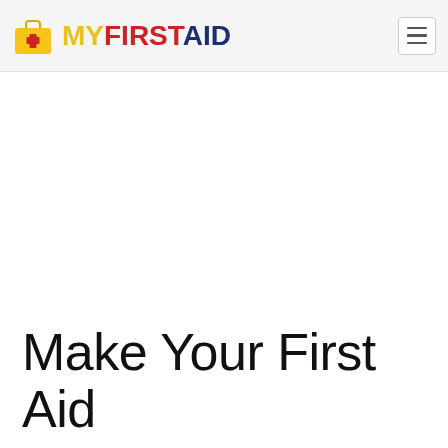MY FIRST AID
Make Your First Aid